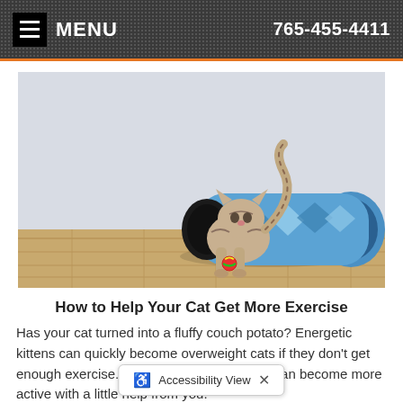MENU | 765-455-4411
[Figure (photo): A tabby cat coming out of a blue crinkle tunnel toy on a wooden floor, with a small colorful ball nearby]
How to Help Your Cat Get More Exercise
Has your cat turned into a fluffy couch potato? Energetic kittens can quickly become overweight cats if they don't get enough exercise. Luckily, your feline friend can become more active with a little help from you.